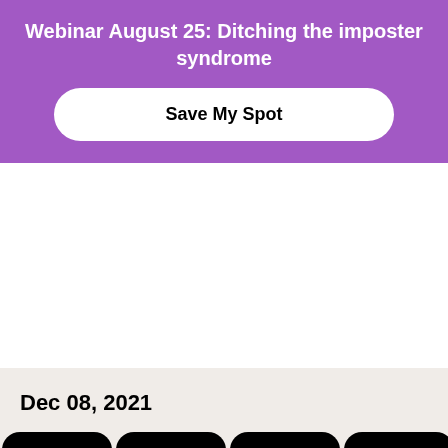Webinar August 25: Ditching the imposter syndrome
Save My Spot
Dec 08, 2021
[Figure (other): Social share buttons: Facebook, Twitter, LinkedIn, Email]